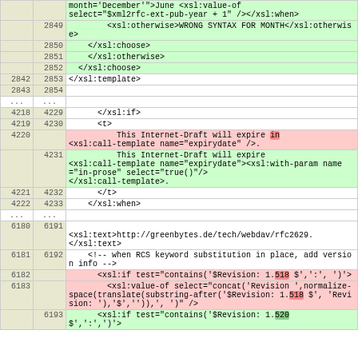| left-num | right-num | code |
| --- | --- | --- |
|  |  | month='December'">June <xsl:value-of select="$xml2rfc-ext-pub-year + 1" /></xsl:when> |
|  | 2849 |         <xsl:otherwise>WRONG SYNTAX FOR MONTH</xsl:otherwise> |
|  | 2850 |     </xsl:choose> |
|  | 2851 |     </xsl:otherwise> |
|  | 2852 |   </xsl:choose> |
| 2842 | 2853 | </xsl:template> |
| 2843 | 2854 |  |
| ... | ... |  |
| 4218 | 4229 |       </xsl:if> |
| 4219 | 4230 |       <t> |
| 4220 |  |           This Internet-Draft will expire in <xsl:call-template name="expirydate" />. |
|  | 4231 |           This Internet-Draft will expire <xsl:call-template name="expirydate"><xsl:with-param name="in-prose" select="true()"/> </xsl:call-template>. |
| 4221 | 4232 |       </t> |
| 4222 | 4233 |     </xsl:when> |
| ... | ... |  |
| 6180 | 6191 | <xsl:text>http://greenbytes.de/tech/webdav/rfc2629.</xsl:text> |
| 6181 | 6192 |     <!-- when RCS keyword substitution in place, add version info --> |
| 6182 |  |       <xsl:if test="contains('$Revision: 1.518 $',':', ')')"> |
| 6183 |  |         <xsl:value-of select="concat('Revision ',normalize-space(translate(substring-after('$Revision: 1.518 $', 'Revision: '),'$','')),' ')" /> |
|  | 6193 |       <xsl:if test="contains('$Revision: 1.520 $',':', ')')"> |